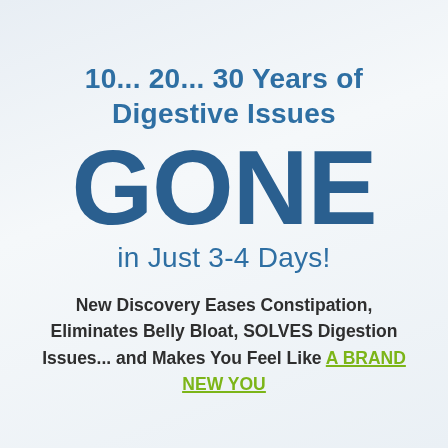10... 20... 30 Years of Digestive Issues
GONE
in Just 3-4 Days!
New Discovery Eases Constipation, Eliminates Belly Bloat, SOLVES Digestion Issues... and Makes You Feel Like A BRAND NEW YOU